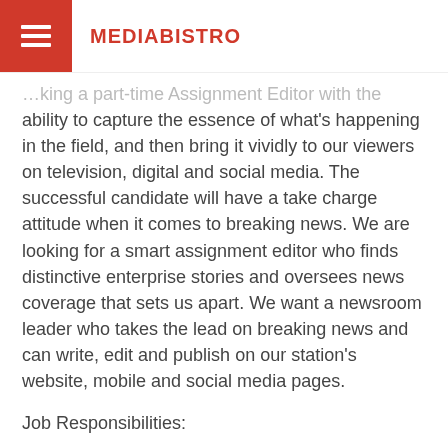MEDIABISTRO
...king a part-time Assignment Editor with the ability to capture the essence of what's happening in the field, and then bring it vividly to our viewers on television, digital and social media. The successful candidate will have a take charge attitude when it comes to breaking news. We are looking for a smart assignment editor who finds distinctive enterprise stories and oversees news coverage that sets us apart. We want a newsroom leader who takes the lead on breaking news and can write, edit and publish on our station's website, mobile and social media pages.
Job Responsibilities:
Listen to police scanners which cover agencies throughout our market
Gather and organize press releases, emails, phone calls and viewer tips. Take initiative